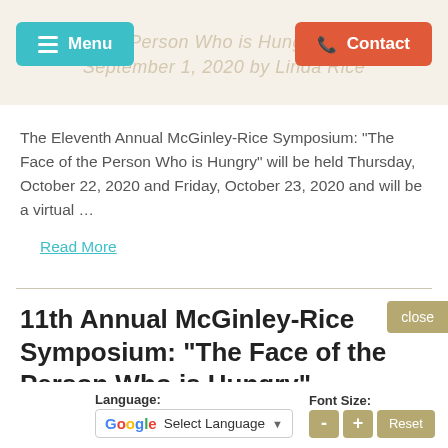Menu | Contact
The Eleventh Annual McGinley-Rice Symposium: “The Face of the Person Who is Hungry” will be held Thursday, October 22, 2020 and Friday, October 23, 2020 and will be a virtual …
Read More
11th Annual McGinley-Rice Symposium: “The Face of the Person Who is Hungry”
Posted on October
The Eleventh Annual